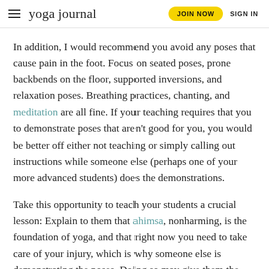yoga journal | JOIN NOW | SIGN IN
In addition, I would recommend you avoid any poses that cause pain in the foot. Focus on seated poses, prone backbends on the floor, supported inversions, and relaxation poses. Breathing practices, chanting, and meditation are all fine. If your teaching requires that you to demonstrate poses that aren't good for you, you would be better off either not teaching or simply calling out instructions while someone else (perhaps one of your more advanced students) does the demonstrations.
Take this opportunity to teach your students a crucial lesson: Explain to them that ahimsa, nonharming, is the foundation of yoga, and that right now you need to take care of your injury, which is why someone else is demonstrating the poses. Doing so may give them the permission they need to take care of themselves and refrain from potentially harmful poses when